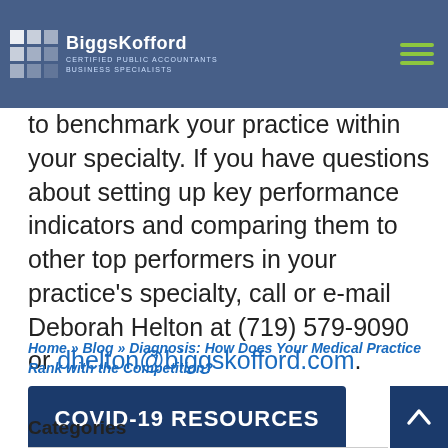BiggsKofford Certified Public Accountants Business Specialists
to benchmark your practice within your specialty. If you have questions about setting up key performance indicators and comparing them to other top performers in your practice's specialty, call or e-mail Deborah Helton at (719) 579-9090 or dhelton@biggskofford.com.
Home » Blog » Diagnosis: How Does Your Medical Practice Rank with the Competition?
COVID-19 RESOURCES
Categories